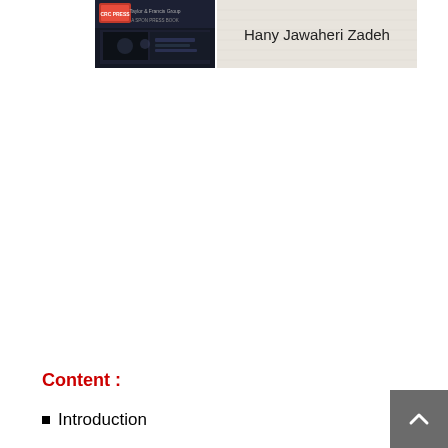[Figure (illustration): Book cover image showing CRC Press / Taylor & Francis Group logo on the left (dark background with what appears to be a technical/engineering image) and text 'Hany Jawaheri Zadeh' on the right on a light textured background]
Content :
Introduction